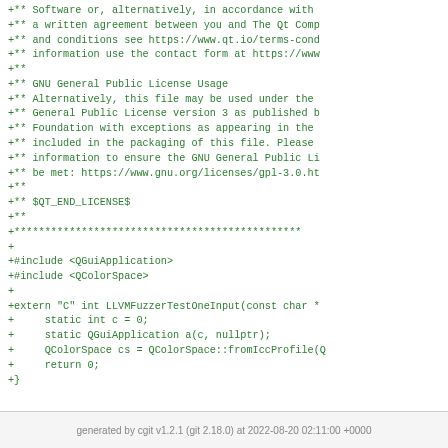+** Software or, alternatively, in accordance with
+** a written agreement between you and The Qt Comp
+** and conditions see https://www.qt.io/terms-cond
+** information use the contact form at https://www
+**
+** GNU General Public License Usage
+** Alternatively, this file may be used under the
+** General Public License version 3 as published b
+** Foundation with exceptions as appearing in the
+** included in the packaging of this file. Please
+** information to ensure the GNU General Public Li
+** be met: https://www.gnu.org/licenses/gpl-3.0.ht
+**
+** $QT_END_LICENSE$
+**
+***********************************************
+
+#include <QGuiApplication>
+#include <QColorSpace>
+
+extern "C" int LLVMFuzzerTestOneInput(const char *
+     static int c = 0;
+     static QGuiApplication a(c, nullptr);
+     QColorSpace cs = QColorSpace::fromIccProfile(Q
+     return 0;
+}
generated by cgit v1.2.1 (git 2.18.0) at 2022-08-20 02:11:00 +0000